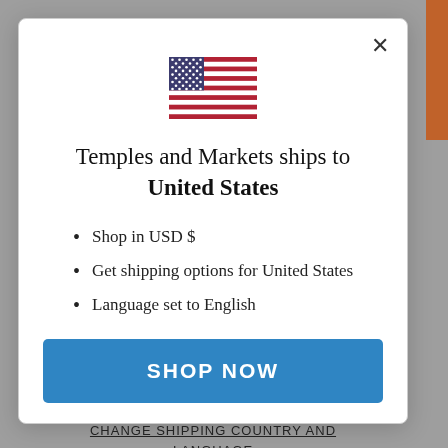[Figure (illustration): US flag icon]
Temples and Markets ships to United States
Shop in USD $
Get shipping options for United States
Language set to English
SHOP NOW
CHANGE SHIPPING COUNTRY AND LANGUAGE